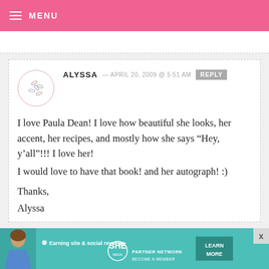MENU
ALYSSA — APRIL 20, 2009 @ 5:51 AM  REPLY

I love Paula Dean! I love how beautiful she looks, her accent, her recipes, and mostly how she says “Hey, y’all”!!! I love her!
I would love to have that book! and her autograph! :)

Thanks,
Alyssa
[Figure (infographic): SHE Media Partner Network advertisement banner with woman photo, bullet point 'Earning site & social revenue', SHE logo, PARTNER NETWORK / BECOME A MEMBER text, and LEARN MORE button]